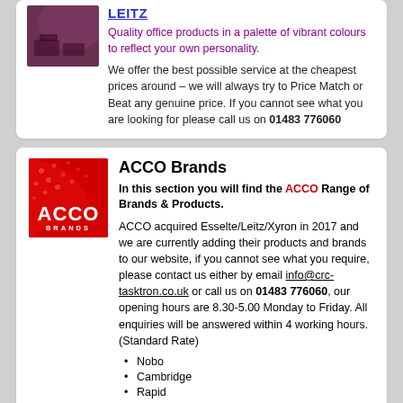LEITZ
Quality office products in a palette of vibrant colours to reflect your own personality.
We offer the best possible service at the cheapest prices around – we will always try to Price Match or Beat any genuine price. If you cannot see what you are looking for please call us on 01483 776060
ACCO Brands
In this section you will find the ACCO Range of Brands & Products.
ACCO acquired Esselte/Leitz/Xyron in 2017 and we are currently adding their products and brands to our website, if you cannot see what you require, please contact us either by email info@crc-tasktron.co.uk or call us on 01483 776060, our opening hours are 8.30-5.00 Monday to Friday. All enquiries will be answered within 4 working hours. (Standard Rate)
Nobo
Cambridge
Rapid
Kensington
Rexel
Derwent
GBC
Just a sample of the brands we supply !